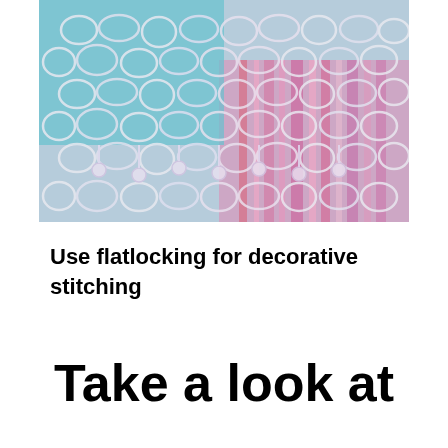[Figure (photo): Close-up photograph of white lace fabric overlaid on a purple and pink striped woven textile. The lace shows an intricate floral/net pattern with teal/turquoise visible through the gaps.]
Use flatlocking for decorative stitching
Take a look at